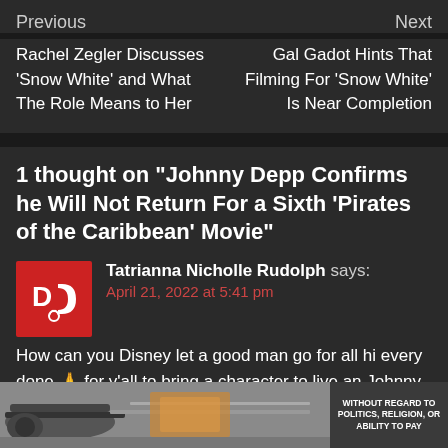Previous | Next
Rachel Zegler Discusses 'Snow White' and What The Role Means to Her
Gal Gadot Hints That Filming For 'Snow White' Is Near Completion
1 thought on "Johnny Depp Confirms he Will Not Return For a Sixth 'Pirates of the Caribbean' Movie"
Tatrianna Nicholle Rudolph says:
April 21, 2022 at 5:41 pm
How can you Disney let a good man go for all hi every done 🙏 for y'all to bring a character to live an Johnny Depp work
[Figure (photo): Advertisement banner showing airplane on tarmac with text 'WITHOUT REGARD TO POLITICS, RELIGION, OR ABILITY TO PAY']